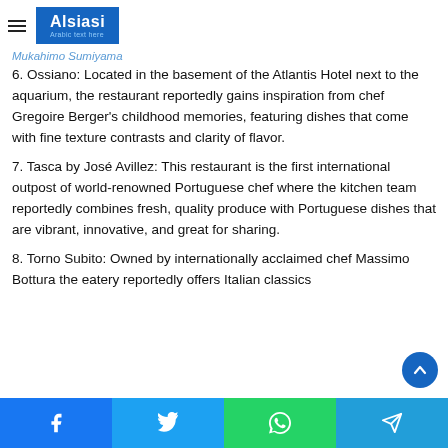Alsiasi
6. Ossiano: Located in the basement of the Atlantis Hotel next to the aquarium, the restaurant reportedly gains inspiration from chef Gregoire Berger's childhood memories, featuring dishes that come with fine texture contrasts and clarity of flavor.
7. Tasca by José Avillez: This restaurant is the first international outpost of world-renowned Portuguese chef where the kitchen team reportedly combines fresh, quality produce with Portuguese dishes that are vibrant, innovative, and great for sharing.
8. Torno Subito: Owned by internationally acclaimed chef Massimo Bottura the eatery reportedly offers Italian classics